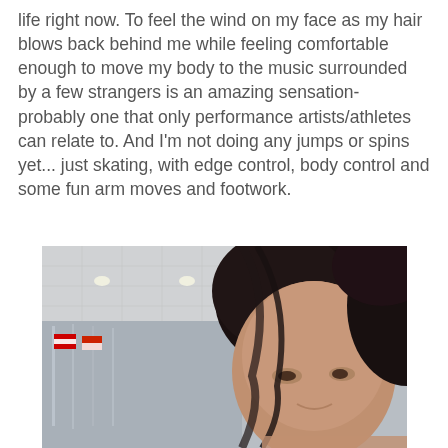life right now. To feel the wind on my face as my hair blows back behind me while feeling comfortable enough to move my body to the music surrounded by a few strangers is an amazing sensation- probably one that only performance artists/athletes can relate to. And I'm not doing any jumps or spins yet... just skating, with edge control, body control and some fun arm moves and footwork.
[Figure (photo): A selfie photo of a woman with dark hair at what appears to be an indoor ice skating rink. The background shows the rink's ceiling structure with lights, and flags visible in the background. The woman is smiling at the camera.]